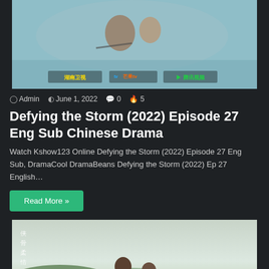[Figure (photo): Two people on a bicycle with Chinese TV network watermarks (湖南卫视, 芒果tv, 腾讯视频) at the bottom]
Admin  June 1, 2022  0  5
Defying the Storm (2022) Episode 27 Eng Sub Chinese Drama
Watch Kshow123 Online Defying the Storm (2022) Episode 27 Eng Sub, DramaCool DramaBeans Defying the Storm (2022) Ep 27 English…
Read More »
[Figure (photo): Two people (man and woman) standing together against a mountain and sky background with Chinese text overlay]